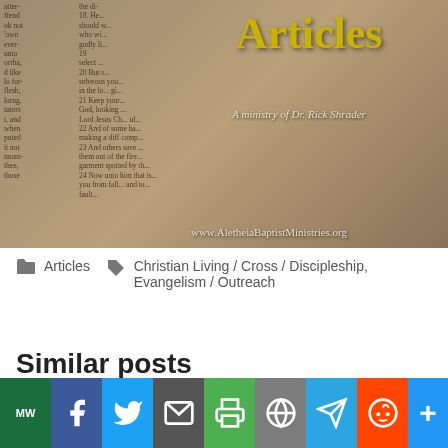[Figure (photo): Banner image for Aletheia Baptist Ministries showing a Bible page background with 'Articles' in gold text and 'A ministry of Dr. Rick Shrader' subtitle, with website URL www.AletheiaBaptistMinistries.org]
Articles   Christian Living / Cross / Discipleship, Evangelism / Outreach
Similar posts
S... The i... A... Road